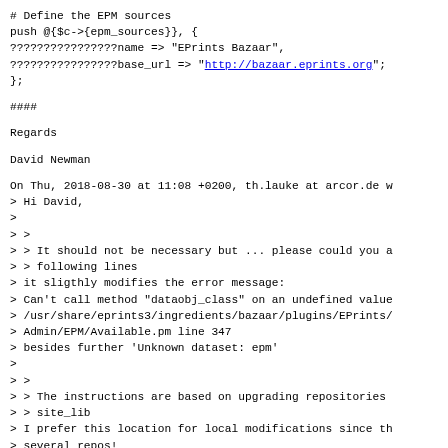# Define the EPM sources
push @{$c->{epm_sources}}, {
????????????????name => "EPrints Bazaar",
????????????????base_url => "http://bazaar.eprints.org";
};
####
Regards
David Newman
On Thu, 2018-08-30 at 11:08 +0200, th.lauke at arcor.de w
> Hi David,
>
> >
> > It should not be necessary but ... please could you a
> > following lines
> it sligthly modifies the error message:
> Can't call method "dataobj_class" on an undefined value
> /usr/share/eprints3/ingredients/bazaar/plugins/EPrints/
> Admin/EPM/Available.pm line 347
> besides further 'Unknown dataset: epm'
>
> >
> > The instructions are based on upgrading repositories
> > site_lib
> I prefer this location for local modifications since th
> several repos!
>